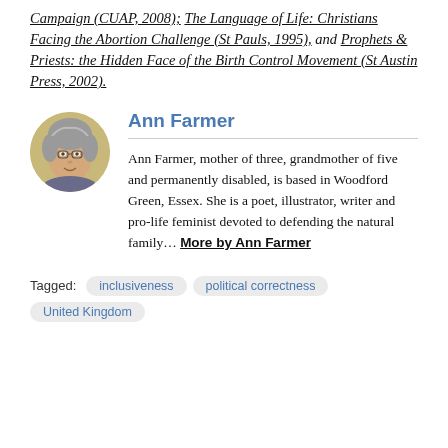Campaign (CUAP, 2008); The Language of Life: Christians Facing the Abortion Challenge (St Pauls, 1995), and Prophets & Priests: the Hidden Face of the Birth Control Movement (St Austin Press, 2002).
Ann Farmer
Ann Farmer, mother of three, grandmother of five and permanently disabled, is based in Woodford Green, Essex. She is a poet, illustrator, writer and pro-life feminist devoted to defending the natural family... More by Ann Farmer
Tagged: inclusiveness  political correctness  United Kingdom